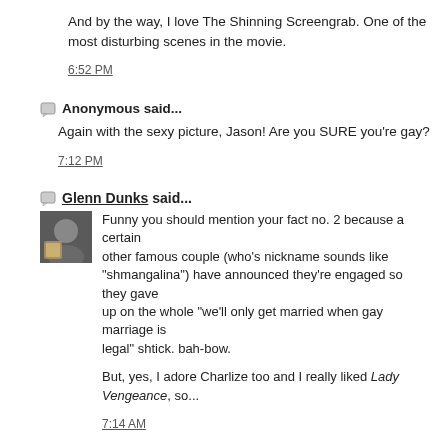And by the way, I love The Shinning Screengrab. One of the most disturbing scenes in the movie.
6:52 PM
Anonymous said...
Again with the sexy picture, Jason! Are you SURE you're gay?
7:12 PM
Glenn Dunks said...
Funny you should mention your fact no. 2 because a certain other famous couple (who's nickname sounds like "shmangalina") have announced they're engaged so they gave up on the whole "we'll only get married when gay marriage is legal" shtick. bah-bow.

But, yes, I adore Charlize too and I really liked Lady Vengeance, so...
7:14 AM